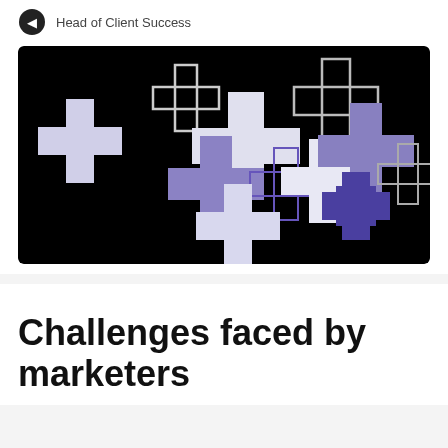Head of Client Success
[Figure (illustration): Black background image with multiple cross/plus shapes in various sizes and colors including white, light purple/lavender, medium purple, dark navy purple, and outlined white crosses arranged in a scattered pattern.]
Challenges faced by marketers